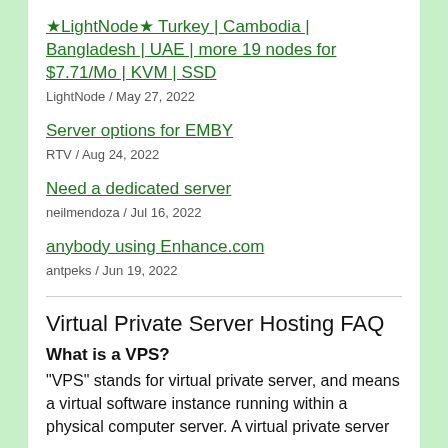★LightNode★ Turkey | Cambodia | Bangladesh | UAE | more 19 nodes for $7.71/Mo | KVM | SSD
LightNode / May 27, 2022
Server options for EMBY
RTV / Aug 24, 2022
Need a dedicated server
neilmendoza / Jul 16, 2022
anybody using Enhance.com
antpeks / Jun 19, 2022
Virtual Private Server Hosting FAQ
What is a VPS?
"VPS" stands for virtual private server, and means a virtual software instance running within a physical computer server. A virtual private server